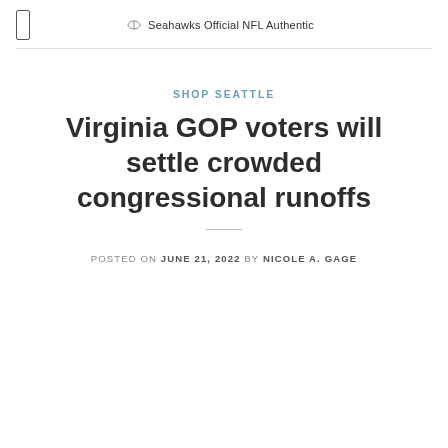Seahawks Official NFL Authentic
SHOP SEATTLE
Virginia GOP voters will settle crowded congressional runoffs
POSTED ON JUNE 21, 2022 BY NICOLE A. GAGE
21 Jun